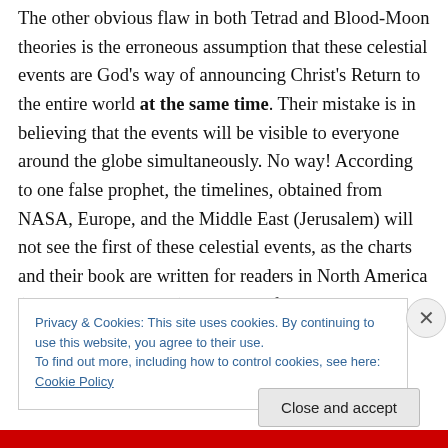The other obvious flaw in both Tetrad and Blood-Moon theories is the erroneous assumption that these celestial events are God's way of announcing Christ's Return to the entire world at the same time. Their mistake is in believing that the events will be visible to everyone around the globe simultaneously. No way! According to one false prophet, the timelines, obtained from NASA, Europe, and the Middle East (Jerusalem) will not see the first of these celestial events, as the charts and their book are written for readers in North America (the USA and Canada) not Asia, Africa, including Jerusalem. So the bad news is no
Privacy & Cookies: This site uses cookies. By continuing to use this website, you agree to their use.
To find out more, including how to control cookies, see here: Cookie Policy
Close and accept